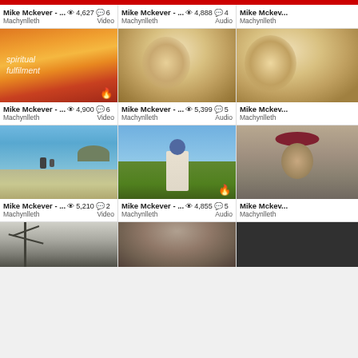[Figure (screenshot): Screenshot of a video/audio content platform grid showing Mike Mckever content cards with thumbnails, view counts, comment counts, location (Machynlleth), and media type (Video/Audio). Six fully visible cards and partial cards shown.]
Mike Mckever - ... 👁 4,627 💬 6
Machynlleth  Video
Mike Mckever - ... 👁 4,888 💬 4
Machynlleth  Audio
Mike Mckeve...
Machynlleth
Mike Mckever - ... 👁 4,900 💬 6
Machynlleth  Video
Mike Mckever - ... 👁 5,399 💬 5
Machynlleth  Audio
Mike Mckeve...
Machynlleth
Mike Mckever - ... 👁 5,210 💬 2
Machynlleth  Video
Mike Mckever - ... 👁 4,855 💬 5
Machynlleth  Audio
Mike Mckeve...
Machynlleth